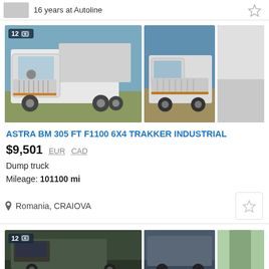16 years at Autoline
[Figure (photo): Three photos of a white ASTRA BM dump truck. Main large photo shows front-left view of white dump truck with yellow stripe on grille, parked outdoors. Second photo shows front view of same truck. Third photo is partially visible.]
ASTRA BM 305 FT F1100 6X4 TRAKKER INDUSTRIAL
$9,501  EUR  CAD
Dump truck
Mileage: 101100 mi
Romania, CRAIOVA
[Figure (photo): Partial view of two photos of a dark-colored dump truck listing, cut off at bottom of page.]